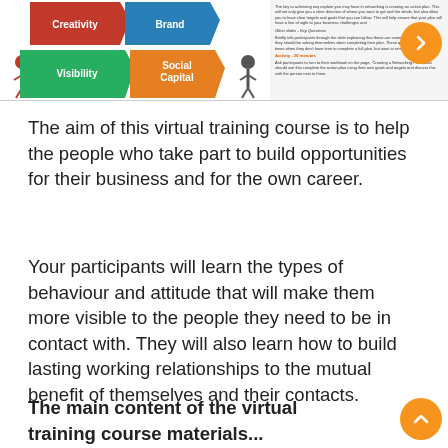[Figure (infographic): Top strip showing a networking/visibility infographic on the left (with colored shapes: red/Creativity, blue/Brand, green/Visibility, orange/Social Capital, with human figures) and a slide preview on the right with small text about networking action plan and activity instructions.]
The aim of this virtual training course is to help the people who take part to build opportunities for their business and for the own career.
Your participants will learn the types of behaviour and attitude that will make them more visible to the people they need to be in contact with. They will also learn how to build lasting working relationships to the mutual benefit of themselves and their contacts.
The main content of the virtual training course materials...